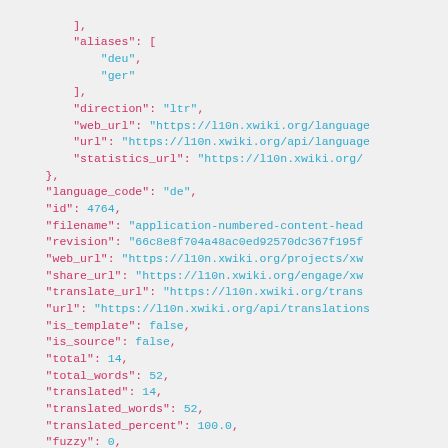JSON code fragment showing aliases, direction, web_url, url, statistics_url, language_code, id, filename, revision, web_url, share_url, translate_url, url, is_template, is_source, total, total_words, translated, translated_words, translated_percent, fuzzy, fuzzy_words, fuzzy_percent, failing_checks, failing_checks_words, failing_checks_percent fields